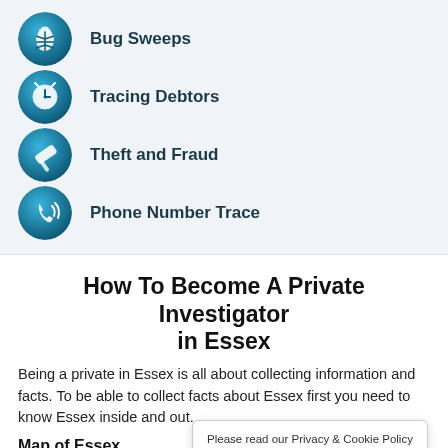Bug Sweeps
Tracing Debtors
Theft and Fraud
Phone Number Trace
How To Become A Private Investigator in Essex
Being a private in Essex is all about collecting information and facts. To be able to collect facts about Essex first you need to know Essex inside and out.
Map of Essex
[Figure (map): Map of Essex showing partial street map with a location pin labeled Conpless and a road with yellow markings]
Please read our Privacy & Cookie Policy before continuing. Click Here
Decline   Accept